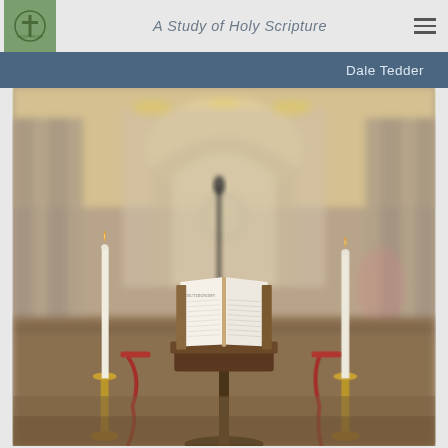A Study of Holy Scripture — Dale Tedder
[Figure (photo): An open Bible on a lectern/pulpit stand inside a church, flanked by two tall white candles in brass candlesticks. The church interior is blurred in the background showing arched stonework, warm chandeliers, and wooden pews.]